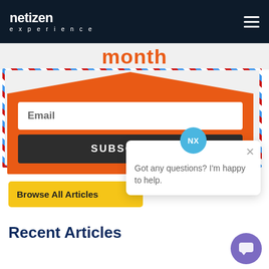[Figure (logo): Netizen Experience logo in white text on dark navy background, with hamburger menu icon on right]
month
[Figure (infographic): Email subscription form with orange envelope background, airmail striped border, email input field, and dark SUBSCRIBE! button]
[Figure (screenshot): Chat popup with NX avatar in blue circle, close X button, and text 'Got any questions? I'm happy to help.']
Browse All Articles
[Figure (other): Purple circular chat icon in bottom right corner]
Recent Articles